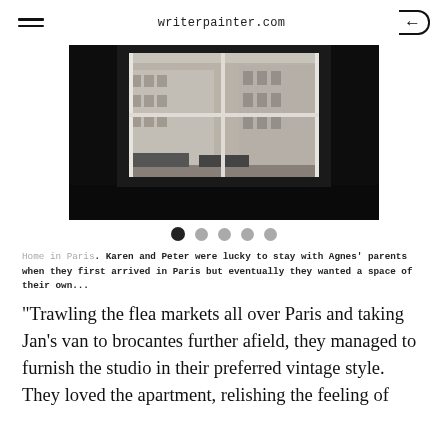writerpainter.com
[Figure (photo): View through a dark-framed window looking out onto a Parisian street with classic Haussmann buildings, balconies, and awnings visible below.]
Home in Paris. Karen and Peter were lucky to stay with Agnes' parents when they first arrived in Paris but eventually they wanted a space of their own...
“Trawling the flea markets all over Paris and taking Jan’s van to brocantes further afield, they managed to furnish the studio in their preferred vintage style. They loved the apartment, relishing the feeling of